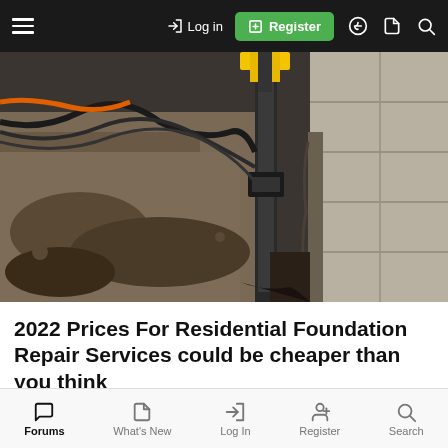≡  → Log in  ⊞ Register
[Figure (photo): Construction photo showing foundation repair work: an excavated trench alongside a concrete block foundation wall, with hydraulic equipment/piers being driven into the ground. Yellow equipment visible at top, cables/hoses on left side.]
2022 Prices For Residential Foundation Repair Services could be cheaper than you think
Foundation Repair | Search Ads
[Figure (photo): Partial view of a second image showing what appears to be additional construction/repair work, cropped at bottom of page.]
Forums   What's New   Log In   Register   Search